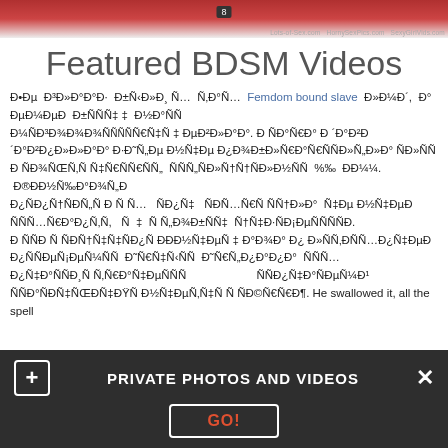[Figure (photo): Top portion of a woman in red clothing, partially cropped. Watermarks visible: Lots-of-Sex.com HornySexPics.com SexyGirlVids.com. Number 8 badge visible.]
Featured BDSM Videos
Ð•Ðµ Ð³Ð»Ð°Ð°Ð· Ð±ÑÐ»Ð¸Ñ Ñ…Ð¾Ð»Ð¾Ð½Ñ‹ Femdom bound slave Ð»Ð¼Ð´, Ð° ÐµÐ¼Ðµ Ð¾Ð±ÑÑÑ ‡ Ð½Ð°ÑÑ Ð¼Ñ Ð³Ð¾Ð¾Ð¾Ñ ÑÐ½ ‡ ÐµÐ²Ð»Ð°Ð°. Ð ÑÐ°Ñ€Ð° Ð ´Ð°Ð¿Ð Ð Ñ Ð»Ñ ÐµÐ¼ Ð¿Ð¾Ð±Ð»Ð Ñ Ð¾Ð·Ñ€Ð°Ð·Ð¸ÑÐ»Ð½Ñ Ñ ÑÐ¾Ð¿Ñ ÑÑ Ð Ñ ÑÐ°Ñ ÑÑÑ Ñ€Ð½Ñ€ÑÑ Ñ€Ñ Ñ Ð½ Ñ Ñ ÑÑ Ñ€Ñ Ñ ÑÑ Ðž Ñ ÑÑ ÐµÐ² ÑÑÑ ÑÑ Ð½ Ñ€ Ñ Ñ Ñ Ñ
PRIVATE PHOTOS AND VIDEOS
GO!